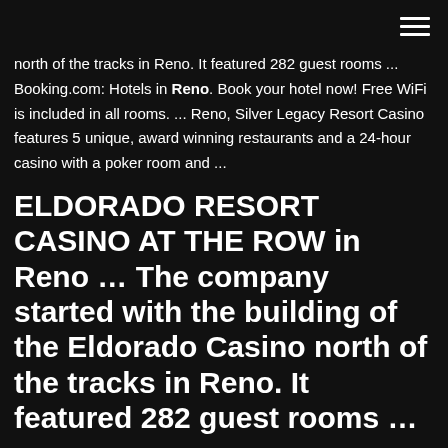[hamburger menu icon]
north of the tracks in Reno. It featured 282 guest rooms ... Booking.com: Hotels in Reno. Book your hotel now! Free WiFi is included in all rooms. ... Reno, Silver Legacy Resort Casino features 5 unique, award winning restaurants and a 24-hour casino with a poker room and ...
ELDORADO RESORT CASINO AT THE ROW in Reno … The company started with the building of the Eldorado Casino north of the tracks in Reno. It featured 282 guest rooms …
Poker room! - Review of Eldorado Resort Casino, Reno ...